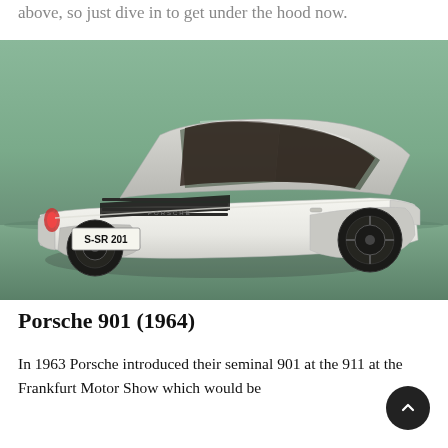above, so just dive in to get under the hood now.
[Figure (photo): Rear three-quarter view of a white Porsche 901 (1964) classic sports car with licence plate S-SR 201, photographed against a green studio background.]
Porsche 901 (1964)
In 1963 Porsche introduced their seminal 901 at the 911 at the Frankfurt Motor Show which would be